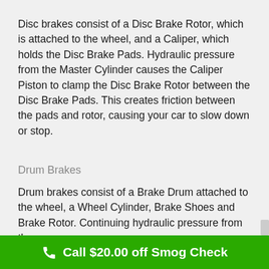Disc brakes consist of a Disc Brake Rotor, which is attached to the wheel, and a Caliper, which holds the Disc Brake Pads. Hydraulic pressure from the Master Cylinder causes the Caliper Piston to clamp the Disc Brake Rotor between the Disc Brake Pads. This creates friction between the pads and rotor, causing your car to slow down or stop.
Drum Brakes
Drum brakes consist of a Brake Drum attached to the wheel, a Wheel Cylinder, Brake Shoes and Brake Rotor. Continuing hydraulic pressure from the...
Call $20.00 off Smog Check